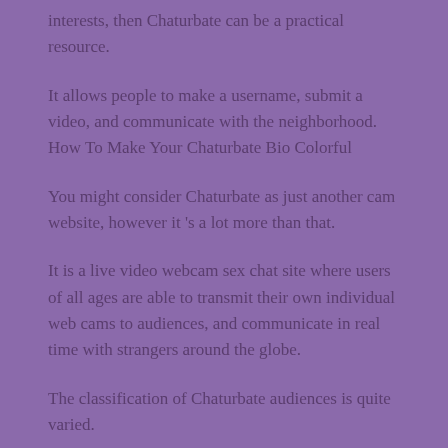interests, then Chaturbate can be a practical resource.
It allows people to make a username, submit a video, and communicate with the neighborhood. How To Make Your Chaturbate Bio Colorful
You might consider Chaturbate as just another cam website, however it 's a lot more than that.
It is a live video webcam sex chat site where users of all ages are able to transmit their own individual web cams to audiences, and communicate in real time with strangers around the globe.
The classification of Chaturbate audiences is quite varied.
Those individuals who see to rapidly be stimulated to orgasm and discover the pre-recorded pornography to be too boring.
At Chaturbate individuals are searching for someone to chat with...